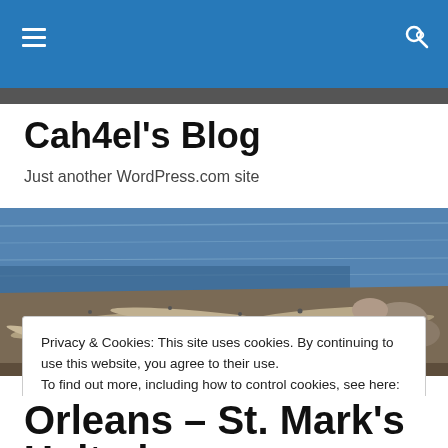Cah4el's Blog — navigation bar with hamburger menu and search icon
Cah4el's Blog
Just another WordPress.com site
[Figure (photo): Outdoor photo of driftwood and rocks along a shoreline with blue water in the background]
Privacy & Cookies: This site uses cookies. By continuing to use this website, you agree to their use.
To find out more, including how to control cookies, see here: Cookie Policy
Close and accept
Orleans – St. Mark's United